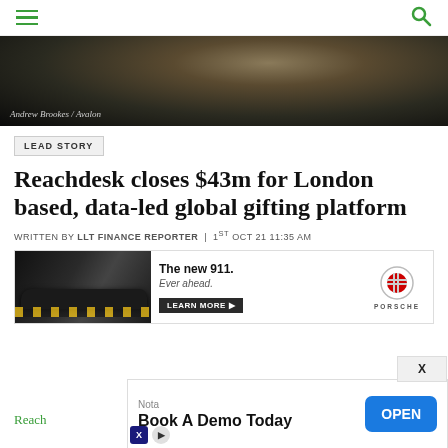Navigation header with hamburger menu and search icon
[Figure (photo): Dark atmospheric photo with caption 'Andrew Brookes / Avalon']
Andrew Brookes / Avalon
LEAD STORY
Reachdesk closes $43m for London based, data-led global gifting platform
WRITTEN BY LLT FINANCE REPORTER | 1ST OCT 21 11:35 AM
[Figure (photo): Porsche advertisement banner showing The new 911. Ever ahead. Learn More button with car image and Porsche logo]
Nota — Book A Demo Today — OPEN